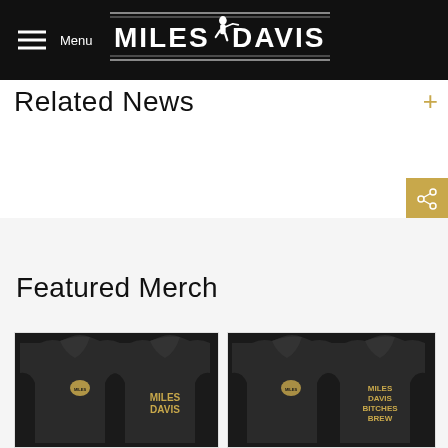Miles Davis — Menu / Navigation header with logo
Related News
Featured Merch
[Figure (photo): Two black Miles Davis hoodies shown front and back with gold Miles Davis text logo]
[Figure (photo): Two black Miles Davis Bitches Brew hoodies shown front and back with gold Miles Davis text]